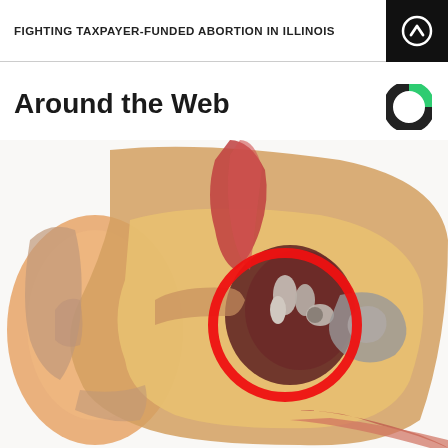FIGHTING TAXPAYER-FUNDED ABORTION IN ILLINOIS
Around the Web
[Figure (illustration): Medical anatomical illustration of a cross-section of the human ear showing outer ear, ear canal, and inner ear structures including the ossicles (malleus, incus, stapes). A red circle highlights the middle ear region containing the ossicles.]
[Figure (logo): Circular logo with green and dark sections, resembling the Outbrain or similar content recommendation service logo]